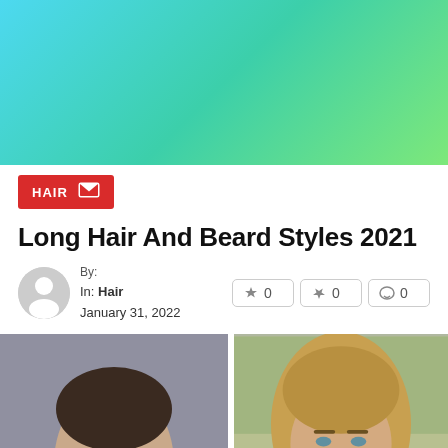[Figure (illustration): Decorative banner with gradient background from cyan/blue on the left to green on the right]
HAIR
Long Hair And Beard Styles 2021
By:
In: Hair
January 31, 2022
0  0  0
[Figure (photo): Two side-by-side photos of men. Left: man with short dark hair. Right: man with long blonde hair and beard.]